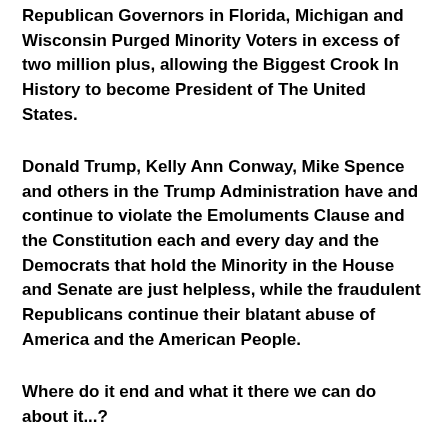Republican Governors in Florida, Michigan and Wisconsin Purged Minority Voters in excess of two million plus, allowing the Biggest Crook In History to become President of The United States.
Donald Trump, Kelly Ann Conway, Mike Spence and others in the Trump Administration have and continue to violate the Emoluments Clause and the Constitution each and every day and the Democrats that hold the Minority in the House and Senate are just helpless, while the fraudulent Republicans continue their blatant abuse of America and the American People.
Where do it end and what it there we can do about it...?